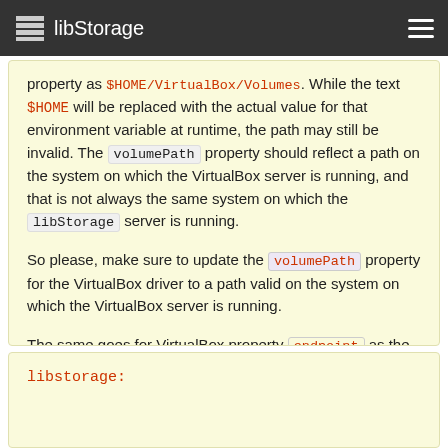libStorage
property as $HOME/VirtualBox/Volumes. While the text $HOME will be replaced with the actual value for that environment variable at runtime, the path may still be invalid. The volumePath property should reflect a path on the system on which the VirtualBox server is running, and that is not always the same system on which the libStorage server is running.

So please, make sure to update the volumePath property for the VirtualBox driver to a path valid on the system on which the VirtualBox server is running.

The same goes for VirtualBox property endpoint as the VirtualBox web service is not always available at 10.0.2.2:18083.
libstorage: